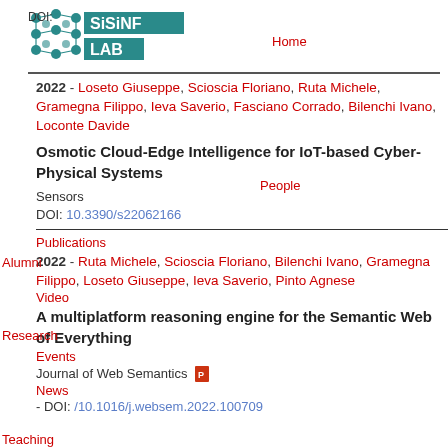DOI:
[Figure (logo): SISINF LAB logo with network dots graphic]
Home
People
Alumni
Research
Teaching
Publications
Video
Events
News
2022 - Loseto Giuseppe, Scioscia Floriano, Ruta Michele, Gramegna Filippo, Ieva Saverio, Fasciano Corrado, Bilenchi Ivano, Loconte Davide
Osmotic Cloud-Edge Intelligence for IoT-based Cyber-Physical Systems
Sensors
DOI: 10.3390/s22062166
2022 - Ruta Michele, Scioscia Floriano, Bilenchi Ivano, Gramegna Filippo, Loseto Giuseppe, Ieva Saverio, Pinto Agnese
A multiplatform reasoning engine for the Semantic Web of Everything
Journal of Web Semantics
DOI: /10.1016/j.websem.2022.100709